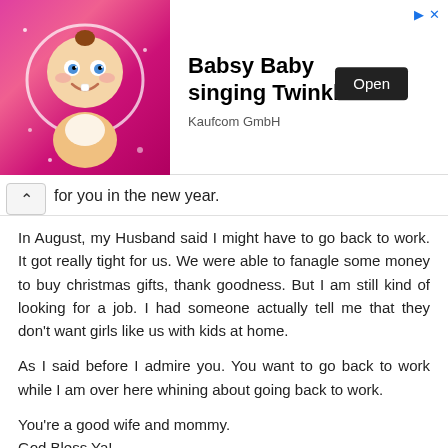[Figure (screenshot): Advertisement banner for 'Babsy Baby singing Twinkle' by Kaufcom GmbH with a cartoon baby image on pink background, an Open button, and close/arrow icons.]
for you in the new year.
In August, my Husband said I might have to go back to work. It got really tight for us. We were able to fanagle some money to buy christmas gifts, thank goodness. But I am still kind of looking for a job. I had someone actually tell me that they don't want girls like us with kids at home.
As I said before I admire you. You want to go back to work while I am over here whining about going back to work.
You're a good wife and mommy.
God Bless Ya!
Reply
Heatherlyn Colt December 30, 2008 at 4:19 PM